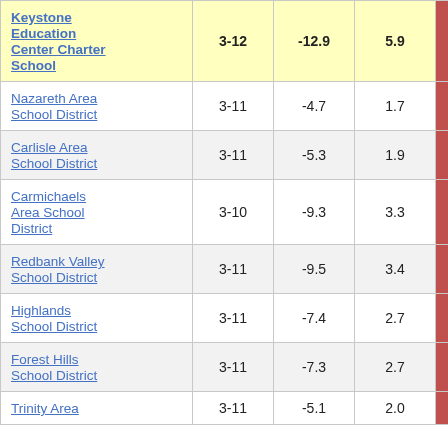| School/District | Grades | Col3 | Col4 | Col5 | Col6 |
| --- | --- | --- | --- | --- | --- |
| Keystone Education Center Charter School | 3-12 | -12.9 | 5.9 | -2.19 | 2 |
| Nazareth Area School District | 3-11 | -4.7 | 1.7 | -2.82 |  |
| Carlisle Area School District | 3-11 | -5.3 | 1.9 | -2.81 |  |
| Carmichaels Area School District | 3-10 | -9.3 | 3.3 | -2.81 |  |
| Redbank Valley School District | 3-11 | -9.5 | 3.4 | -2.77 |  |
| Highlands School District | 3-11 | -7.4 | 2.7 | -2.76 |  |
| Forest Hills School District | 3-11 | -7.3 | 2.7 | -2.74 |  |
| Trinity Area | 3-11 | -5.1 | 2.0 | -2.71 |  |